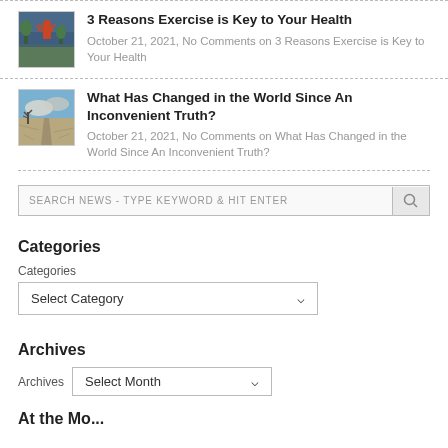[Figure (photo): Person exercising outdoors with arms raised against a dramatic sky with trees]
3 Reasons Exercise is Key to Your Health
October 21, 2021, No Comments on 3 Reasons Exercise is Key to Your Health
[Figure (photo): A dirt path through a dry cracked field under a cloudy sky]
What Has Changed in the World Since An Inconvenient Truth?
October 21, 2021, No Comments on What Has Changed in the World Since An Inconvenient Truth?
SEARCH NEWS - TYPE KEYWORD & HIT ENTER
Categories
Categories
Select Category
Archives
Archives
Select Month
At the Mo...